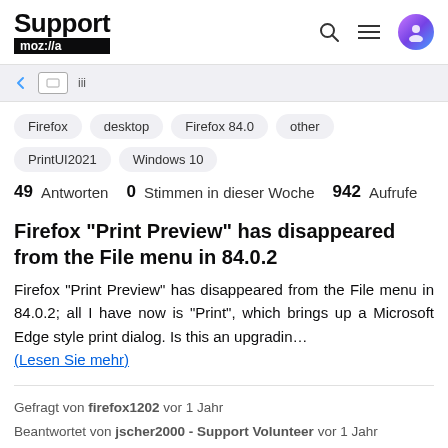Support moz://a
[Figure (screenshot): Browser navigation bar strip showing back arrow, tab icon, and partial URL text]
Firefox
desktop
Firefox 84.0
other
PrintUI2021
Windows 10
49 Antworten   0 Stimmen in dieser Woche   942 Aufrufe
Firefox "Print Preview" has disappeared from the File menu in 84.0.2
Firefox "Print Preview" has disappeared from the File menu in 84.0.2; all I have now is "Print", which brings up a Microsoft Edge style print dialog. Is this an upgradin... (Lesen Sie mehr)
Gefragt von firefox1202 vor 1 Jahr
Beantwortet von jscher2000 - Support Volunteer vor 1 Jahr